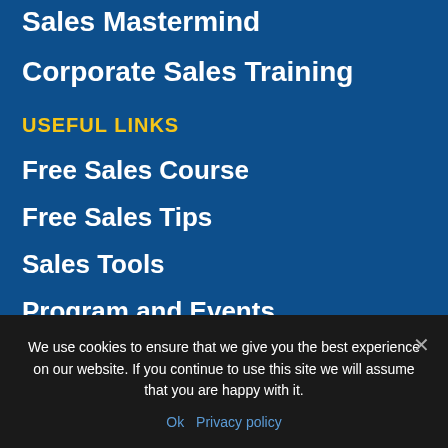Sales Mastermind
Corporate Sales Training
USEFUL LINKS
Free Sales Course
Free Sales Tips
Sales Tools
Program and Events
SIGN UP TO THE NEWSLETTER
We use cookies to ensure that we give you the best experience on our website. If you continue to use this site we will assume that you are happy with it.
Ok   Privacy policy